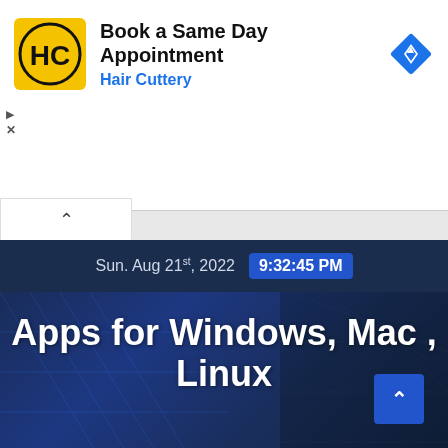[Figure (screenshot): Advertisement banner for Hair Cuttery showing logo, 'Book a Same Day Appointment' heading, and navigation icon]
Book a Same Day Appointment
Hair Cuttery
Sun. Aug 21st, 2022  9:32:45 PM
Apps for Windows, Mac , Linux
capnamanh.com